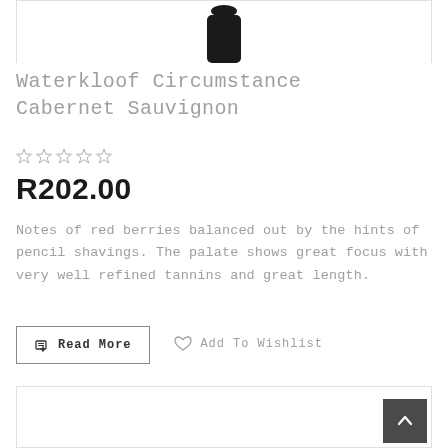[Figure (photo): Partial top view of a dark wine bottle against white background]
Waterkloof Circumstance Cabernet Sauvignon
☆ ☆ ☆ ☆ ☆
R202.00
Notes of red berries balanced out by the hints of pencil shavings. The palate shows great focus with very well refined tannins and great length.
🛒 Read More
♡ Add To Wishlist
[Figure (screenshot): Bottom portion of a second product card, partially visible]